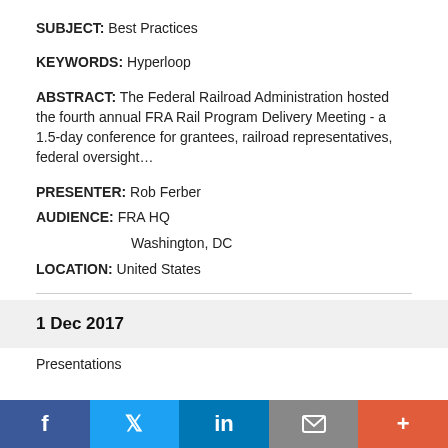SUBJECT: Best Practices
KEYWORDS: Hyperloop
ABSTRACT: The Federal Railroad Administration hosted the fourth annual FRA Rail Program Delivery Meeting - a 1.5-day conference for grantees, railroad representatives, federal oversight…
PRESENTER: Rob Ferber
AUDIENCE: FRA HQ
    Washington, DC
LOCATION: United States
1 Dec 2017
Presentations